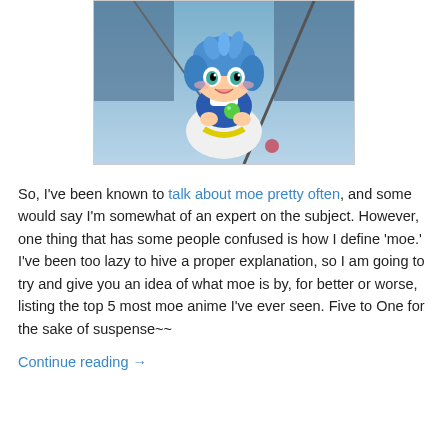[Figure (illustration): Anime character with blue hair holding a green orb, wearing blue and white outfit, smiling]
So, I've been known to talk about moe pretty often, and some would say I'm somewhat of an expert on the subject. However, one thing that has some people confused is how I define 'moe.' I've been too lazy to hive a proper explanation, so I am going to try and give you an idea of what moe is by, for better or worse, listing the top 5 most moe anime I've ever seen. Five to One for the sake of suspense~~
Continue reading →